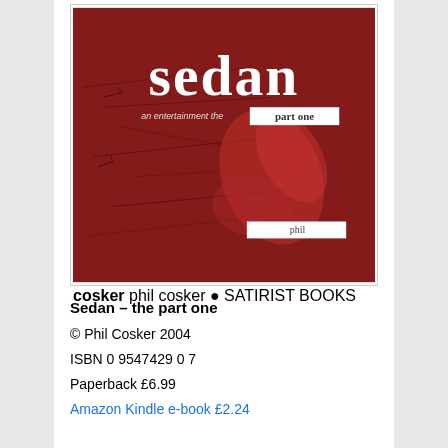[Figure (illustration): Book cover of 'Sedan – the part one' by Phil Cosker. Dark red/crimson background with sketch-like map elements and swirling shapes. Large white text reads 'sedan' at top, with 'an entertainment the part one' below in smaller text where 'part one' appears on a white rectangle. Author name 'phil cosker' appears near bottom right on a white rectangle. Publisher logo and text at bottom center.]
Sedan – the part one
© Phil Cosker 2004
ISBN 0 9547429 0 7
Paperback £6.99
Amazon Kindle e-book £2.24